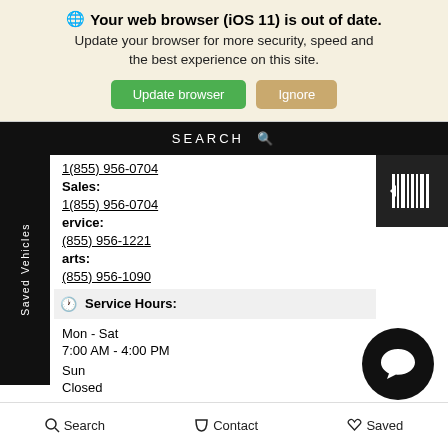Your web browser (iOS 11) is out of date. Update your browser for more security, speed and the best experience on this site.
Update browser | Ignore
SEARCH
1(855) 956-0704
Sales:
1(855) 956-0704
Service:
(855) 956-1221
Parts:
(855) 956-1090
Service Hours:
Mon - Sat
7:00 AM - 4:00 PM
Sun
Closed
Saved Vehicles
Search  Contact  Saved